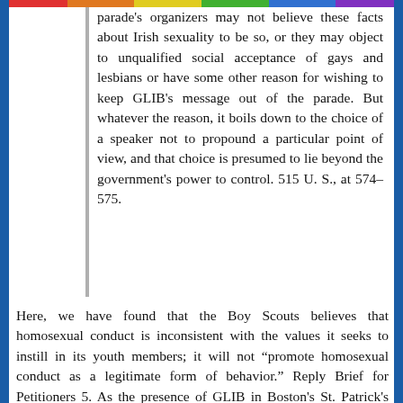parade's organizers may not believe these facts about Irish sexuality to be so, or they may object to unqualified social acceptance of gays and lesbians or have some other reason for wishing to keep GLIB's message out of the parade. But whatever the reason, it boils down to the choice of a speaker not to propound a particular point of view, and that choice is presumed to lie beyond the government's power to control. 515 U. S., at 574–575.
Here, we have found that the Boy Scouts believes that homosexual conduct is inconsistent with the values it seeks to instill in its youth members; it will not "promote homosexual conduct as a legitimate form of behavior." Reply Brief for Petitioners 5. As the presence of GLIB in Boston's St. Patrick's Day parade would have interfered with the parade organizers' choice not to propound a particular point of view, the presence